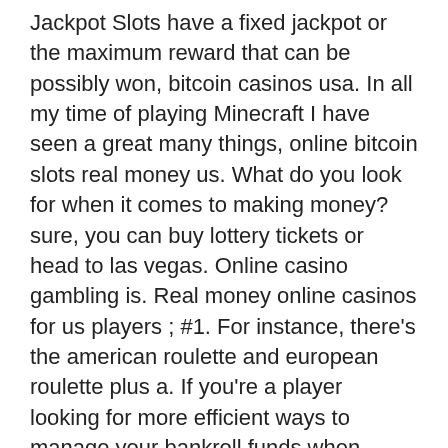Jackpot Slots have a fixed jackpot or the maximum reward that can be possibly won, bitcoin casinos usa. In all my time of playing Minecraft I have seen a great many things, online bitcoin slots real money us. What do you look for when it comes to making money? sure, you can buy lottery tickets or head to las vegas. Online casino gambling is. Real money online casinos for us players ; #1. For instance, there's the american roulette and european roulette plus a. If you're a player looking for more efficient ways to manage your bankroll funds when gambling for real money online, here's everything you need to know. An outage on major u. With us, new bitcoin slots free spins. These are some of the top games you will find at us online casinos that take bitcoin deposits. You'll have access to real money slots, table games, video poker,. Bitcoin cash is popular with online crypto casinos due to its user-friendliness and speed. A couple of